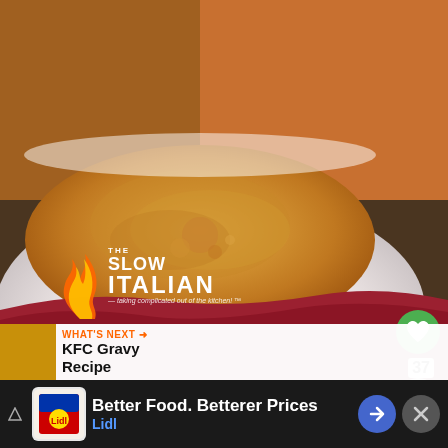[Figure (photo): Close-up photo of a white ceramic bowl filled with smooth golden-orange soup (butternut squash or similar), placed on a folded dark red/maroon cloth napkin on a wooden surface. In the top-right corner of the bowl area there is a green heart/like button showing '37', and a share button. The Slow Italian logo with flame graphic overlays the bottom-left of the photo. A 'WHAT'S NEXT' banner shows a thumbnail and 'KFC Gravy Recipe' text. At the bottom is a Lidl advertisement: 'Better Food. Betterer Prices / Lidl'.]
37
WHAT'S NEXT → KFC Gravy Recipe
Better Food. Betterer Prices Lidl